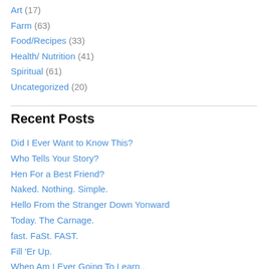Art (17)
Farm (63)
Food/Recipes (33)
Health/ Nutrition (41)
Spiritual (61)
Uncategorized (20)
Recent Posts
Did I Ever Want to Know This?
Who Tells Your Story?
Hen For a Best Friend?
Naked. Nothing. Simple.
Hello From the Stranger Down Yonward
Today. The Carnage.
fast. FaSt. FAST.
Fill 'Er Up.
When Am I Ever Going To Learn..
The Queengdom Is At Stake